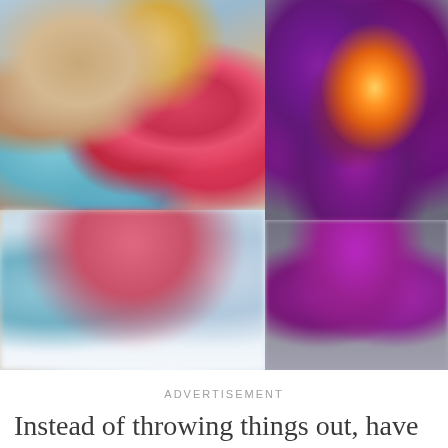[Figure (photo): Two side-by-side photos. Left: colorful crafts/clay items including red jelly candies, teal and blue paper or fabric, small clay figurines, and a yellow sphere in an egg carton or similar container. Bottom portion is blurred. Right: Close-up of a purple/violet flower (appears artificial/fabric) with a warm glowing light in its center. Bottom portion is blurred.]
ADVERTISEMENT
Instead of throwing things out, have you